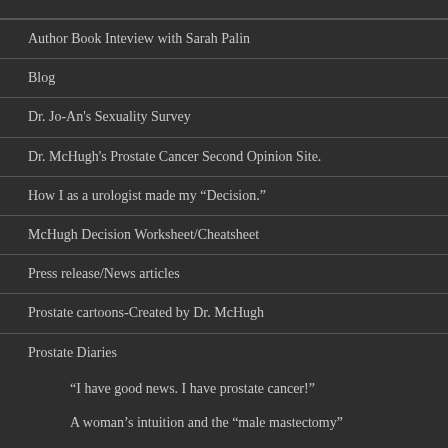Author Book Inteview with Sarah Palin
Blog
Dr. Jo-An's Sexuality Survey
Dr. McHugh's Prostate Cancer Second Opinion Site.
How I as a urologist made my “Decision.”
McHugh Decision Worksheet/Cheatsheet
Press release/News articles
Prostate cartoons-Created by Dr. McHugh
Prostate Diaries
“I have good news. I have prostate cancer!”
A woman’s intuition and the “male mastectomy”